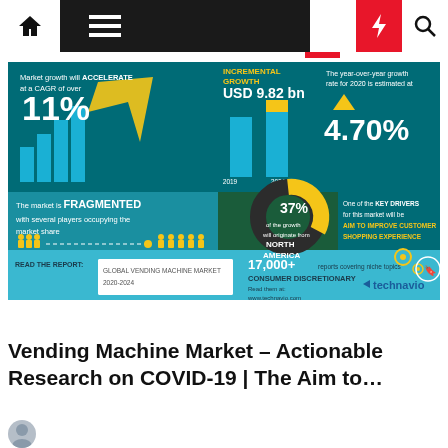Navigation bar with home, menu, moon, bolt, search icons
[Figure (infographic): Technavio infographic for Global Vending Machine Market 2020-2024. Key stats: Market growth will ACCELERATE at a CAGR of over 11%; INCREMENTAL GROWTH USD 9.82 bn; The year-over-year growth rate for 2020 is estimated at 4.70%; The market is FRAGMENTED with several players occupying the market share; 37% of the growth will originate from NORTH AMERICA; One of the KEY DRIVERS for this market will be AIM TO IMPROVE CUSTOMER SHOPPING EXPERIENCE; READ THE REPORT: GLOBAL VENDING MACHINE MARKET 2020-2024; 17,000+ reports covering niche topics CONSUMER DISCRETIONARY; technavio logo]
The Environment
Vending Machine Market – Actionable Research on COVID-19 | The Aim to…